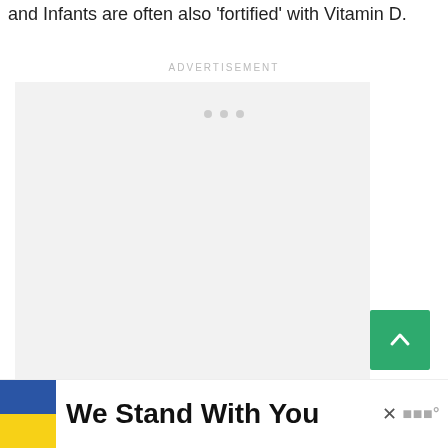and Infants are often also 'fortified' with Vitamin D.
ADVERTISEMENT
[Figure (other): Advertisement placeholder box with three small grey dots indicating loading state, and a green scroll-to-top button with an upward chevron arrow.]
[Figure (other): Banner advertisement showing Ukrainian flag (blue and yellow), bold text 'We Stand With You', a close button X, and a brand logo 'w°'.]